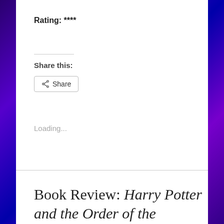Rating: ****
Share this:
Share
Loading...
Book Review: Harry Potter and the Order of the Phoenix by J.K. Rowling